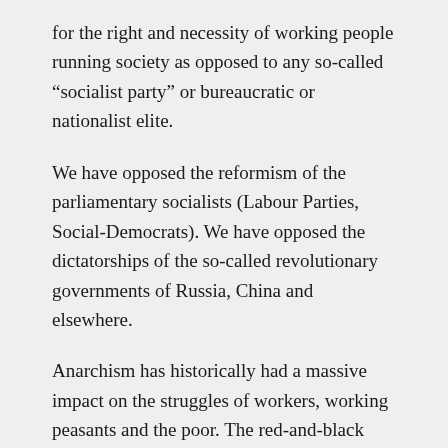for the right and necessity of working people running society as opposed to any so-called “socialist party” or bureaucratic or nationalist elite.
We have opposed the reformism of the parliamentary socialists (Labour Parties, Social-Democrats). We have opposed the dictatorships of the so-called revolutionary governments of Russia, China and elsewhere.
Anarchism has historically had a massive impact on the struggles of workers, working peasants and the poor. The red-and-black flag of anarcho-syndicalism has attracted the masses in their millions.
This booklet is about the history of anarchism.